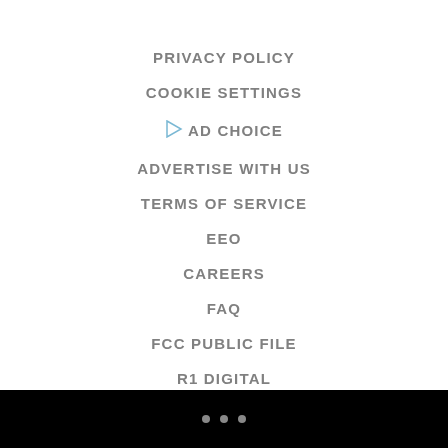PRIVACY POLICY
COOKIE SETTINGS
AD CHOICE
ADVERTISE WITH US
TERMS OF SERVICE
EEO
CAREERS
FAQ
FCC PUBLIC FILE
R1 DIGITAL
WJMO FCC APPLICATIONS
• • •